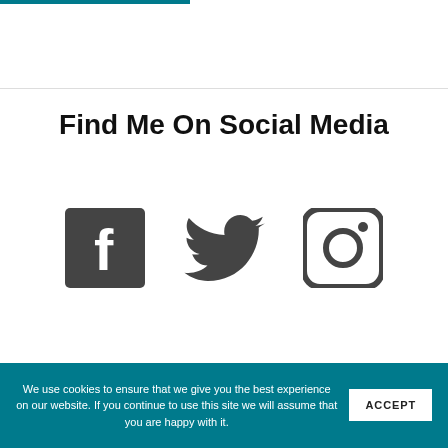Find Me On Social Media
[Figure (logo): Three social media icons: Facebook (square with 'f'), Twitter (bird), Instagram (camera outline), displayed in dark gray.]
We use cookies to ensure that we give you the best experience on our website. If you continue to use this site we will assume that you are happy with it.